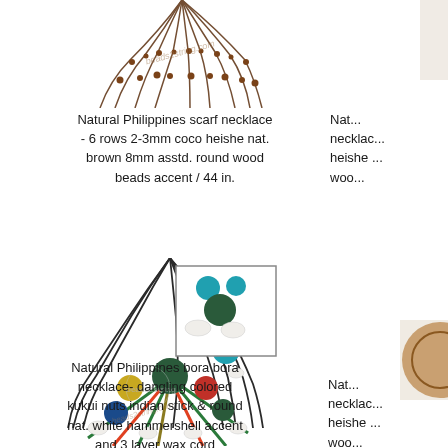[Figure (photo): Partial top view of a brown natural Philippines scarf necklace with coco heishe beads and wood beads, shown spread out from top]
Natural Philippines scarf necklace - 6 rows 2-3mm coco heishe nat. brown 8mm asstd. round wood beads accent / 44 in.
[Figure (photo): Partial view of another necklace on the right side, cut off at right edge]
Nat... necklac... heishe ... woo...
[Figure (photo): Natural Philippines bora bora necklace with dangling colored kukui nuts, indian sticks and round natural white hammershell accents on 3 layer wax cord]
Natural Philippines bora bora necklace- dangling colored kukui nuts indian stick & round nat. white hammershell accent and 3 layer wax cord
[Figure (photo): Partial view of another necklace on bottom right, cut off at right edge]
Nat... necklac... heishe ... woo...